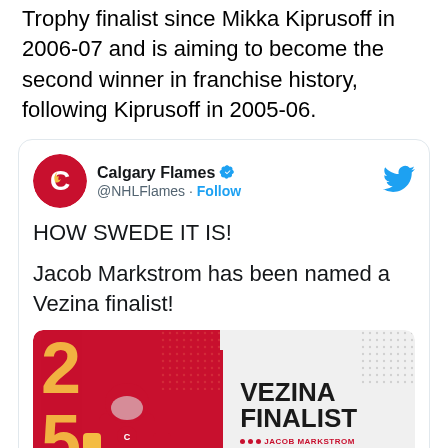Trophy finalist since Mikka Kiprusoff in 2006-07 and is aiming to become the second winner in franchise history, following Kiprusoff in 2005-06.
[Figure (screenshot): Embedded tweet from @NHLFlames (Calgary Flames) with verified badge and Follow button. Tweet text reads: 'HOW SWEDE IT IS! Jacob Markstrom has been named a Vezina finalist!' Below tweet text is a promotional image showing a goalie in red Calgary Flames jersey with number 25, and text on the right side reading 'VEZINA FINALIST *** JACOB MARKSTROM' in bold black font on light background with red accent bar and dot pattern.]